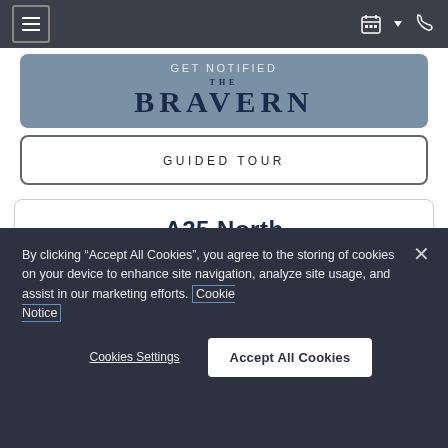Navigation bar with hamburger menu, calendar icon, and phone icon
[Figure (screenshot): GET NOTIFIED banner with THE BRAVERN logo in dark blue serif font on steel-blue background]
[Figure (screenshot): GUIDED TOUR button with border, white background]
A25 North
By clicking “Accept All Cookies”, you agree to the storing of cookies on your device to enhance site navigation, analyze site usage, and assist in our marketing efforts. Cookie Notice
Cookies Settings
Accept All Cookies